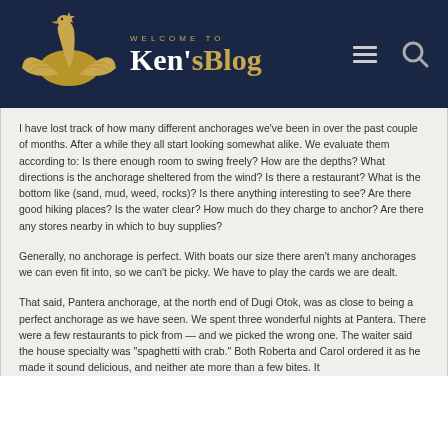WELCOME TO Ken'sBlog
I have lost track of how many different anchorages we've been in over the past couple of months. After a while they all start looking somewhat alike. We evaluate them according to: Is there enough room to swing freely? How are the depths? What directions is the anchorage sheltered from the wind? Is there a restaurant? What is the bottom like (sand, mud, weed, rocks)? Is there anything interesting to see? Are there good hiking places? Is the water clear? How much do they charge to anchor? Are there any stores nearby in which to buy supplies?
Generally, no anchorage is perfect. With boats our size there aren't many anchorages we can even fit into, so we can't be picky. We have to play the cards we are dealt.
That said, Pantera anchorage, at the north end of Dugi Otok, was as close to being a perfect anchorage as we have seen. We spent three wonderful nights at Pantera. There were a few restaurants to pick from — and we picked the wrong one. The waiter said the house specialty was "spaghetti with crab." Both Roberta and Carol ordered it as he made it sound delicious, and neither ate more than a few bites. It